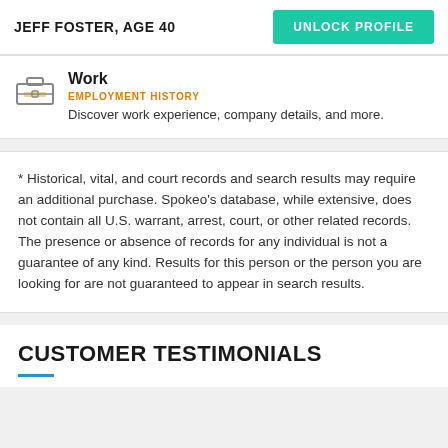JEFF FOSTER, AGE 40
UNLOCK PROFILE
Work
EMPLOYMENT HISTORY
Discover work experience, company details, and more.
* Historical, vital, and court records and search results may require an additional purchase. Spokeo's database, while extensive, does not contain all U.S. warrant, arrest, court, or other related records. The presence or absence of records for any individual is not a guarantee of any kind. Results for this person or the person you are looking for are not guaranteed to appear in search results.
CUSTOMER TESTIMONIALS